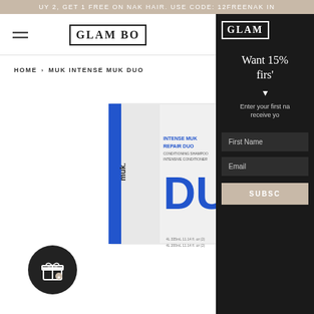UY 2, GET 1 FREE ON NAK HAIR. USE CODE: 12FREENAK IN
[Figure (logo): GLAM BO logo in bordered box, left panel]
HOME › MUK INTENSE MUK DUO
[Figure (photo): Muk Intense Muk Duo product box — white/blue packaging showing DUO branding]
[Figure (illustration): Gift icon circle button (black circle with gift box icon)]
[Figure (logo): GLAM logo in white bordered box, right dark panel]
Want 15%
firs'
Enter your first na
receive yo
First Name
Email
SUBSC